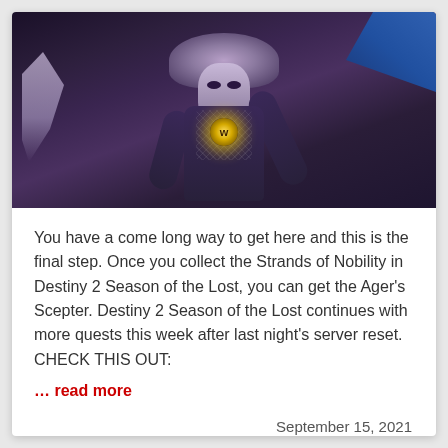[Figure (photo): Screenshot from Destiny 2 game showing an armored character with purple/white fur-trimmed shoulders, crosshatched chest armor with a glowing gold emblem, dark eye markings on face, extending one arm toward a blue fabric/flag in the upper right corner, against a dark purple background.]
You have a come long way to get here and this is the final step. Once you collect the Strands of Nobility in Destiny 2 Season of the Lost, you can get the Ager's Scepter. Destiny 2 Season of the Lost continues with more quests this week after last night's server reset. CHECK THIS OUT:
… read more
September 15, 2021